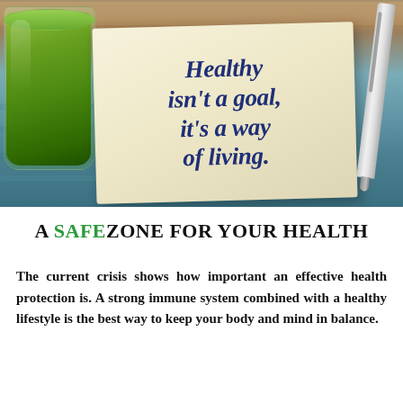[Figure (photo): Photo of a green smoothie in a glass on a wooden/blue painted table surface, with a paper napkin that reads 'Healthy isn't a goal, it's a way of living.' written in dark blue italic text, and a silver pen resting to the right.]
A SAFEZONE FOR YOUR HEALTH
The current crisis shows how important an effective health protection is. A strong immune system combined with a healthy lifestyle is the best way to keep your body and mind in balance.